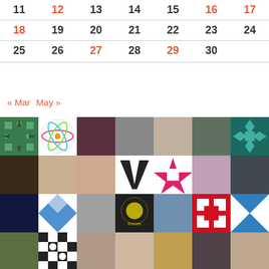| 11 | 12 | 13 | 14 | 15 | 16 | 17 |
| 18 | 19 | 20 | 21 | 22 | 23 | 24 |
| 25 | 26 | 27 | 28 | 29 | 30 |  |
« Mar   May »
[Figure (photo): Grid of profile photos, avatars, decorative quilt patterns, and logos arranged in a mosaic layout — approximately 7 columns × 6 rows of 64×64px images]